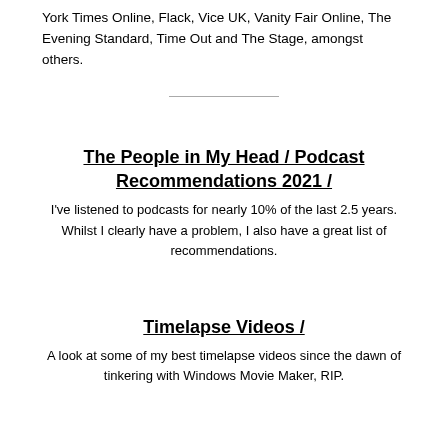York Times Online, Flack, Vice UK, Vanity Fair Online, The Evening Standard, Time Out and The Stage, amongst others.
The People in My Head / Podcast Recommendations 2021 /
I've listened to podcasts for nearly 10% of the last 2.5 years. Whilst I clearly have a problem, I also have a great list of recommendations.
Timelapse Videos /
A look at some of my best timelapse videos since the dawn of tinkering with Windows Movie Maker, RIP.